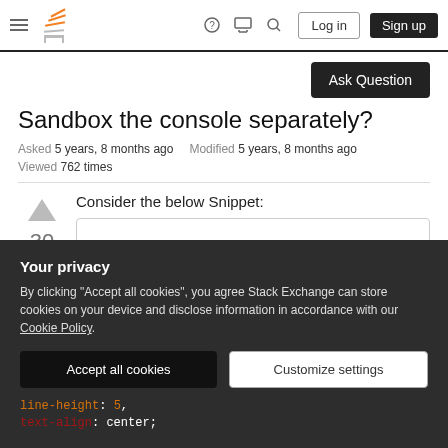Stack Overflow header with hamburger menu, logo, help, chat, search icons, Log in and Sign up buttons
Sandbox the console separately?
Asked 5 years, 8 months ago   Modified 5 years, 8 months ago   Viewed 762 times
Consider the below Snippet:
30
[Figure (screenshot): Partially visible code snippet box with code starting to show]
Your privacy
By clicking "Accept all cookies", you agree Stack Exchange can store cookies on your device and disclose information in accordance with our Cookie Policy.
Accept all cookies   Customize settings
line-height: 5,
text-align: center;